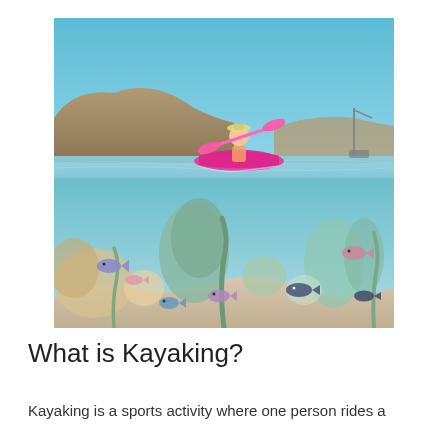[Figure (photo): Split above/below water photograph showing a person in a pink kayak paddling on a clear blue sea with rocky hills in the background above the waterline, and a colorful coral reef with tropical fish visible below the waterline.]
What is Kayaking?
Kayaking is a sports activity where one person rides a